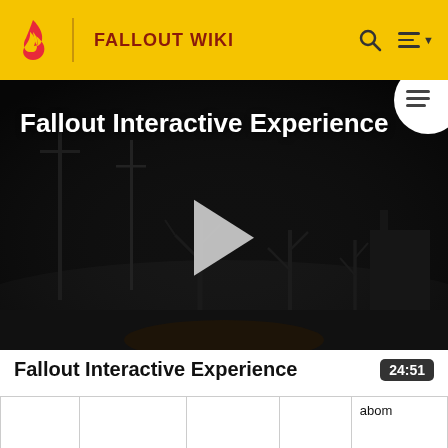FALLOUT WIKI
[Figure (screenshot): Dark post-apocalyptic scene with barren trees and utility poles at night, serving as video thumbnail for 'Fallout Interactive Experience']
Fallout Interactive Experience
24:51
|  |  |  |  | abom... |
| --- | --- | --- | --- | --- |
| 166 |  |  |  | {Irrita... and le... got s... |